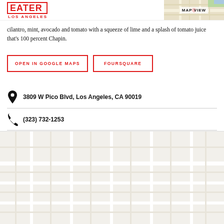EATER LOS ANGELES
cilantro, mint, avocado and tomato with a squeeze of lime and a splash of tomato juice that’s 100 percent Chapin.
OPEN IN GOOGLE MAPS
FOURSQUARE
3809 W Pico Blvd, Los Angeles, CA 90019
(323) 732-1253
[Figure (map): Street map thumbnail shown in header area]
[Figure (map): Large embedded map area at bottom of page, light gray background]